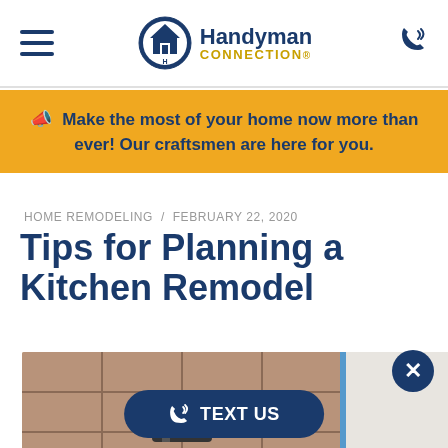Handyman Connection
Make the most of your home now more than ever! Our craftsmen are here for you.
HOME REMODELING / FEBRUARY 22, 2020
Tips for Planning a Kitchen Remodel
[Figure (photo): Kitchen remodeling photo showing tile work and wall construction]
TEXT US